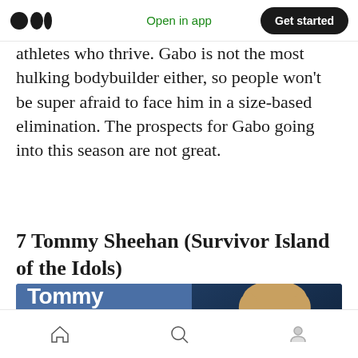Open in app | Get started
athletes who thrive. Gabo is not the most hulking bodybuilder either, so people won't be super afraid to face him in a size-based elimination. The prospects for Gabo going into this season are not great.
7 Tommy Sheehan (Survivor Island of the Idols)
Overall Score: 72/100
[Figure (photo): Tommy Sheehan banner image showing his name, stats (27 Years Old, 6'4, 210 lbs, Rookie) on a blue background with a photo of Tommy Sheehan on the right side.]
Navigation bar with home, search, and profile icons